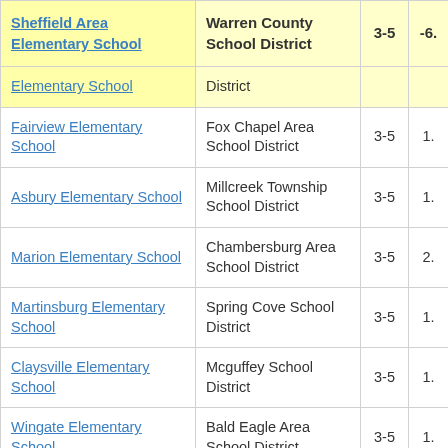| School | District | Grades | Score |
| --- | --- | --- | --- |
| Sheffield Area Elementary School | Warren County School District | 3-5 | -6. |
| Elementary School | District |  |  |
| Fairview Elementary School | Fox Chapel Area School District | 3-5 | 1. |
| Asbury Elementary School | Millcreek Township School District | 3-5 | 1. |
| Marion Elementary School | Chambersburg Area School District | 3-5 | 2. |
| Martinsburg Elementary School | Spring Cove School District | 3-5 | 1. |
| Claysville Elementary School | Mcguffey School District | 3-5 | 1. |
| Wingate Elementary School | Bald Eagle Area School District | 3-5 | 1. |